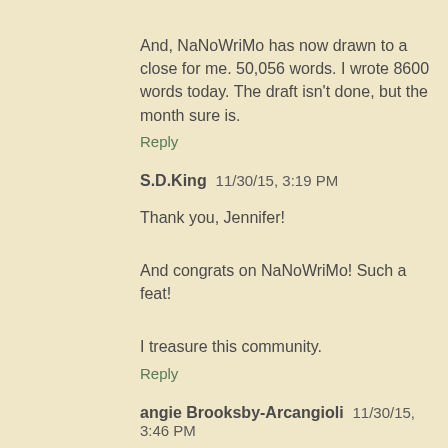And, NaNoWriMo has now drawn to a close for me. 50,056 words. I wrote 8600 words today. The draft isn't done, but the month sure is.
Reply
S.D.King 11/30/15, 3:19 PM
Thank you, Jennifer!
And congrats on NaNoWriMo! Such a feat!
I treasure this community.
Reply
angie Brooksby-Arcangioli 11/30/15, 3:46 PM
Like The Sleepy One said. What is that thing on Bill Cameron's head anyway? I've wondered for some time. And if we're talking professional head shots, I want Jeff Somers's photographer.